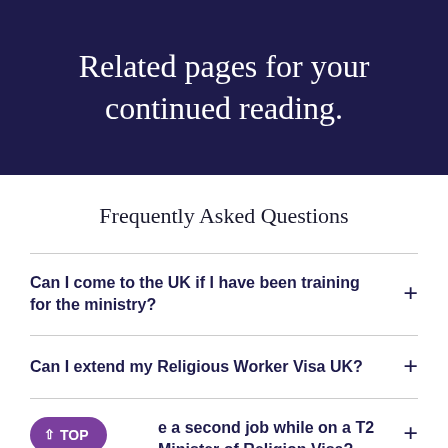Related pages for your continued reading.
Frequently Asked Questions
Can I come to the UK if I have been training for the ministry?
Can I extend my Religious Worker Visa UK?
Can I have a second job while on a T2 Minister of Religion Visa?